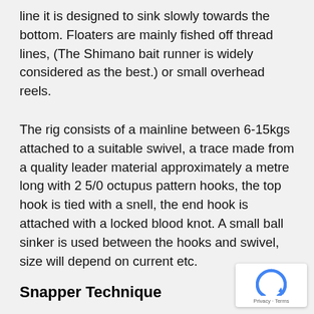line it is designed to sink slowly towards the bottom. Floaters are mainly fished off thread lines, (The Shimano bait runner is widely considered as the best.) or small overhead reels.
The rig consists of a mainline between 6-15kgs attached to a suitable swivel, a trace made from a quality leader material approximately a metre long with 2 5/0 octupus pattern hooks, the top hook is tied with a snell, the end hook is attached with a locked blood knot. A small ball sinker is used between the hooks and swivel, size will depend on current etc.
Snapper Technique